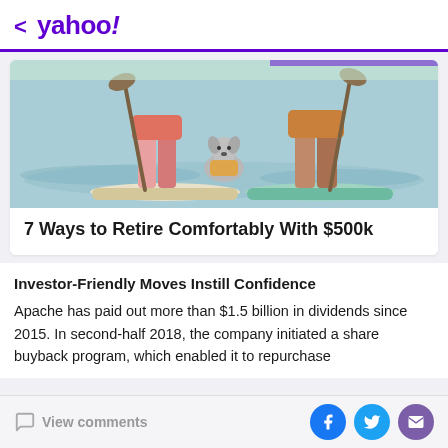< yahoo!
[Figure (illustration): Illustrated image of two people standing on paddleboards on water, each holding a paddle, with a dog sitting between them on one of the boards. The scene is drawn in a colorful illustration style.]
7 Ways to Retire Comfortably With $500k
Investor-Friendly Moves Instill Confidence
Apache has paid out more than $1.5 billion in dividends since 2015. In second-half 2018, the company initiated a share buyback program, which enabled it to repurchase
View comments